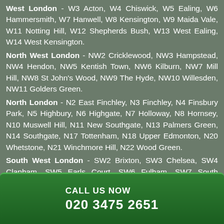West London - W3 Acton, W4 Chiswick, W5 Ealing, W6 Hammersmith, W7 Hanwell, W8 Kensington, W9 Maida Vale, W11 Notting Hill, W12 Shepherds Bush, W13 West Ealing, W14 West Kensington.
North West London - NW2 Cricklewood, NW3 Hampstead, NW4 Hendon, NW5 Kentish Town, NW6 Kilburn, NW7 Mill Hill, NW8 St John's Wood, NW9 The Hyde, NW10 Willesden, NW11 Golders Green.
North London - N2 East Finchley, N3 Finchley, N4 Finsbury Park, N5 Highbury, N6 Highgate, N7 Holloway, N8 Hornsey, N10 Muswell Hill, N11 New Southgate, N13 Palmers Green, N14 Southgate, N17 Tottenham, N18 Upper Edmonton, N20 Whetstone, N21 Winchmore Hill, N22 Wood Green.
South West London - SW2 Brixton, SW3 Chelsea, SW4 Clapham, SW5 Earls Court, SW6 Fulham, SW7 South Kensington, SW9 Stockwell, SW10 West Brompton, SW12 Balham, SW13 Barnes, SW14 Mortlake, SW15 Putney, SW16 Streatham, SW17 Tooting, SW18 Wandsworth, SW19 Wimbledon.
CALL US NOW
020 3475 2651